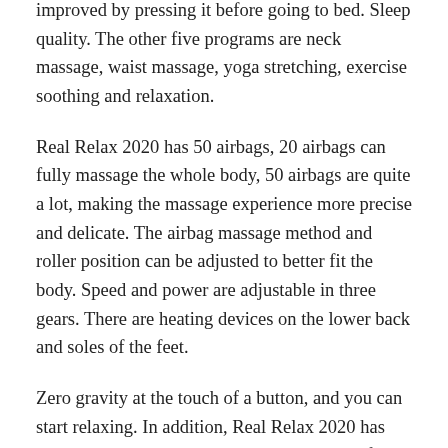improved by pressing it before going to bed. Sleep quality. The other five programs are neck massage, waist massage, yoga stretching, exercise soothing and relaxation.
Real Relax 2020 has 50 airbags, 20 airbags can fully massage the whole body, 50 airbags are quite a lot, making the massage experience more precise and delicate. The airbag massage method and roller position can be adjusted to better fit the body. Speed and power are adjustable in three gears. There are heating devices on the lower back and soles of the feet.
Zero gravity at the touch of a button, and you can start relaxing. In addition, Real Relax 2020 has LED breathing lights on the side, which can flash different colours of light in the rhythm of breathing, which is very atmospheric. You can also connect to your phone via Bluetooth to control music playback